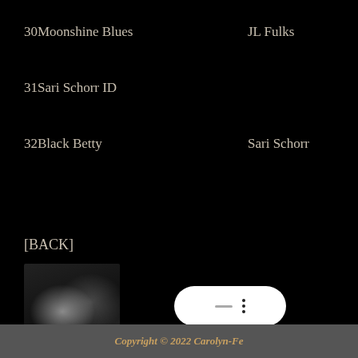30Moonshine Blues   JL Fulks   Hea
31Sari Schorr ID
32Black Betty   Sari Schorr   A Fo
[Figure (photo): Black and white photo of a vinyl record or turntable, close-up, with bright light reflections on the grooves]
[Figure (screenshot): White pill-shaped media player control button with a dash and three dots]
[BACK]
Copyright © 2022 Carolyn-Fe